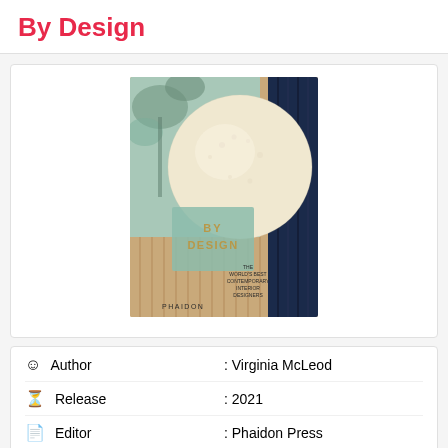By Design
[Figure (illustration): Book cover of 'By Design: The World's Best Contemporary Interior Designers' published by Phaidon. Features a large cream/white textured sphere against a teal and warm wood-toned background with foliage silhouettes and dark blue curtain at the right.]
| Author | Virginia McLeod |
| Release | 2021 |
| Editor | Phaidon Press |
| Pages | 328 |
| ISBN | 1838661875 |